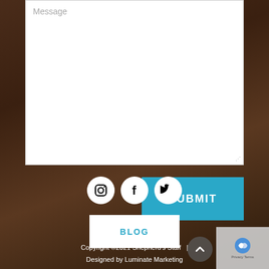[Figure (screenshot): Text area input field with placeholder text 'Message' on white background]
SUBMIT
[Figure (illustration): Row of three social media icon circles (Instagram, Facebook, Twitter) on dark brown blurred background]
BLOG
Copyright ©2021 Shepherd's Staff  |  Designed by Luminate Marketing